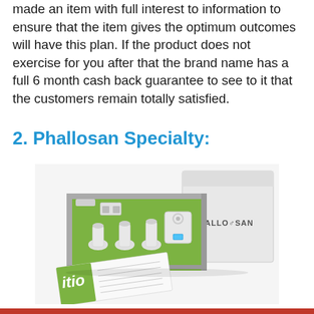made an item with full interest to information to ensure that the item gives the optimum outcomes will have this plan. If the product does not exercise for you after that the brand name has a full 6 month cash back guarantee to see to it that the customers remain totally satisfied.
2. Phallosan Specialty:
[Figure (photo): Phallosan Forte product kit displayed in a green-interior box showing medical device components including suction bells, a belt mechanism, and accessories, alongside a white box with the Phallosan brand name and a folded instruction leaflet in the foreground.]